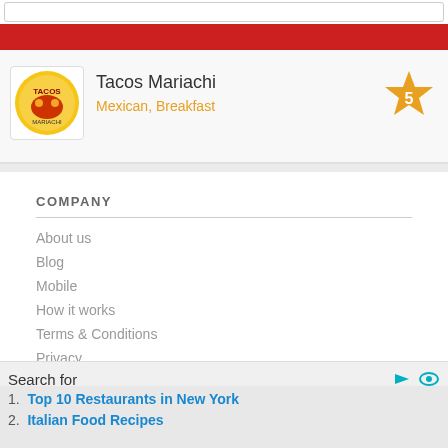[Figure (screenshot): Search bar at top of page, partially visible]
[Figure (screenshot): Red navigation banner]
Tacos Mariachi
Mexican, Breakfast
[Figure (other): Star badge with number 5]
COMPANY
About us
Blog
Mobile
How it works
Terms & Conditions
Privacy
FIND OUT
Restaurants near me
Search for
1. Top 10 Restaurants in New York
2. Italian Food Recipes